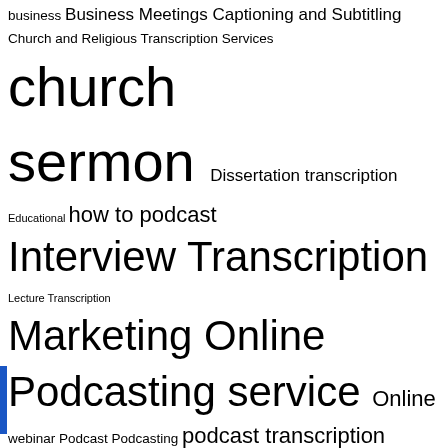[Figure (infographic): Tag cloud featuring various transcription, podcast, video, and media-related terms in varying font sizes indicating frequency or importance. Terms include: business, Business Meetings, Captioning and Subtitling, Church and Religious Transcription Services, church sermon, Dissertation transcription, Educational, how to podcast, Interview Transcription, Lecture Transcription, Marketing Online Podcasting service, Online webinar, Podcast, Podcasting, podcast transcription, Podcast Transcription services, presentation, Quality Podcast, Radio Show Transcription, Recording Interview, recording tips, Research, services, social media, software, Thesis, Transcription, transcription company, transcription services, Video Blogging, video conference, Video Conferencing, video editing, video editing softwares, video interview, Video Transcription, voice recording application, Web Conferencing, webinar, webinars, webinar]